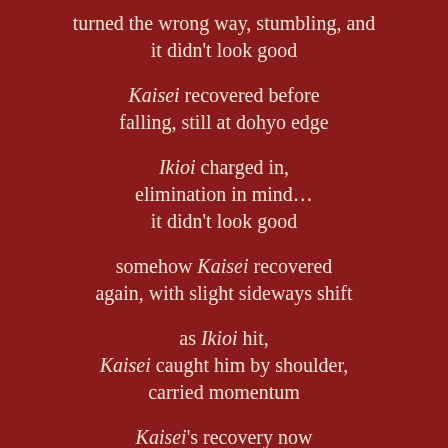turned the wrong way, stumbling, and it didn't look good
Kaisei recovered before falling, still at dohyo edge
Ikioi charged in, elimination in mind… it didn't look good
somehow Kaisei recovered again, with slight sideways shift
as Ikioi hit, Kaisei caught him by shoulder, carried momentum
Kaisei's recovery now complete, kachikoshi made